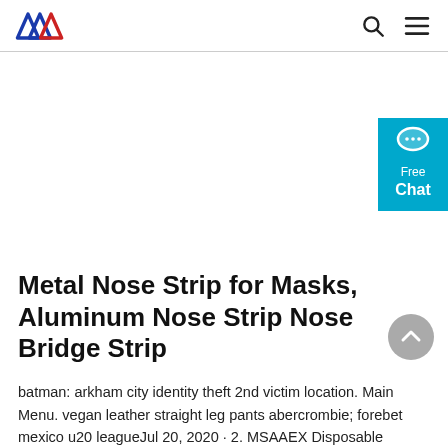AW logo with navigation search and menu icons
[Figure (other): Blue chat support button on right edge reading 'Free Chat' with chat bubble icon]
Metal Nose Strip for Masks, Aluminum Nose Strip Nose Bridge Strip
batman: arkham city identity theft 2nd victim location. Main Menu. vegan leather straight leg pants abercrombie; forebet mexico u20 leagueJul 20, 2020 · 2. MSAAEX Disposable Masks. Amazon. An adjustable nose bridge is amon features disposable face masks because it ensures a secure fit—but that doesn't mean every mask is the same 100/200Pcs Nose Bridge Strips for Mask, Aluminum Metal Nose Strip Wire for DIY Face